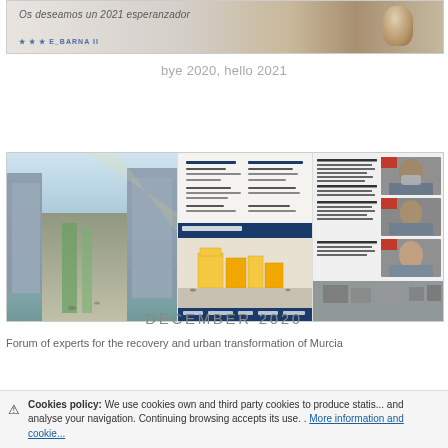[Figure (screenshot): Top banner image showing 'Os deseamos un 2021 esperanzador' text with a vase/jar and E_BARNA branding logo below]
bye 2020, hello 2021
[Figure (screenshot): Collage of architectural/urban images: left shows aerial view of modern city blocks with green spaces; center shows event program document and yellow modular structures; right shows news article columns with photos of masked speakers]
DECEMBER 2020
Forum of experts for the recovery and urban transformation of Murcia
Cookies policy: We use cookies own and third party cookies to produce statistics and analyse your navigation. Continuing browsing accepts its use. . More information and cookies policy